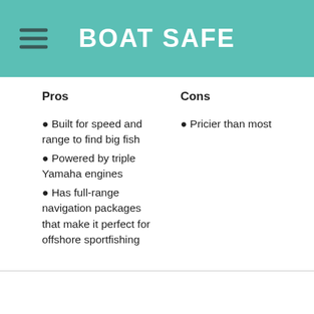BOAT SAFE
Pros
Built for speed and range to find big fish
Powered by triple Yamaha engines
Has full-range navigation packages that make it perfect for offshore sportfishing
Cons
Pricier than most